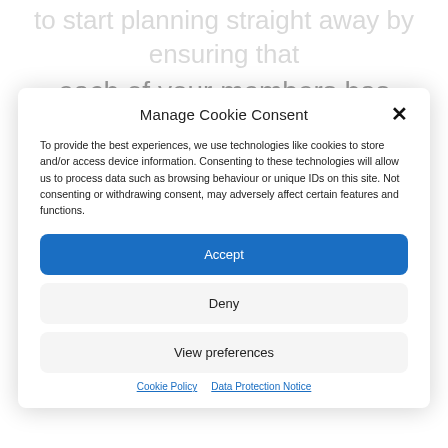each of your members has completed a gift aid
Manage Cookie Consent
To provide the best experiences, we use technologies like cookies to store and/or access device information. Consenting to these technologies will allow us to process data such as browsing behaviour or unique IDs on this site. Not consenting or withdrawing consent, may adversely affect certain features and functions.
Accept
Deny
View preferences
Cookie Policy   Data Protection Notice